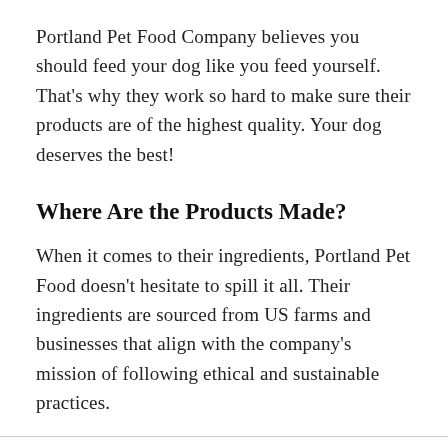Portland Pet Food Company believes you should feed your dog like you feed yourself. That's why they work so hard to make sure their products are of the highest quality. Your dog deserves the best!
Where Are the Products Made?
When it comes to their ingredients, Portland Pet Food doesn't hesitate to spill it all. Their ingredients are sourced from US farms and businesses that align with the company's mission of following ethical and sustainable practices.
Their fresh, human-grade meat comes from